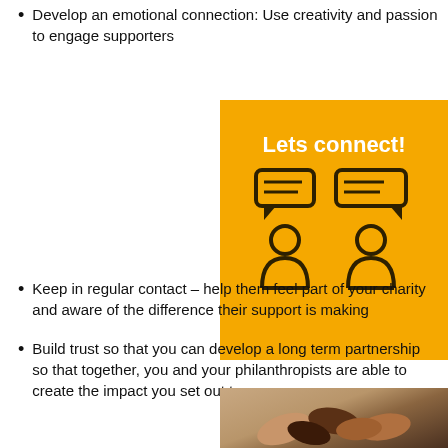Develop an emotional connection: Use creativity and passion to engage supporters
[Figure (infographic): Orange/yellow callout box with text 'Lets connect!' and two chat/person icons representing communication between people]
Keep in regular contact – help them feel part of your charity and aware of the difference their support is making
Build trust so that you can develop a long term partnership so that together, you and your philanthropists are able to create the impact you set out to achieve
[Figure (photo): Photo of multiple fists coming together in a unity/partnership gesture, showing diverse hands]